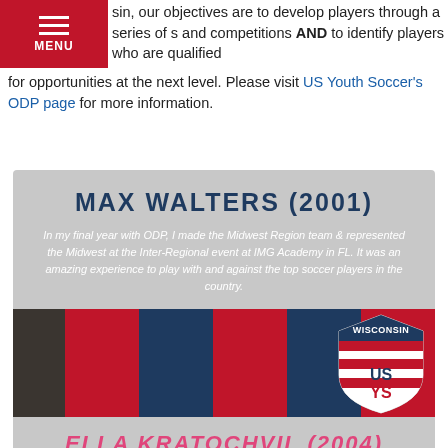sin, our objectives are to develop players through a series of s and competitions AND to identify players who are qualified for opportunities at the next level. Please visit US Youth Soccer's ODP page for more information.
[Figure (infographic): Testimonial card with gray background featuring Max Walters (2001) quote, jersey-pattern color strip with Wisconsin US Youth Soccer badge, and Ella Kratochvil (2004) quote below]
MAX WALTERS (2001)
In my final year with ODP, I made the Midwest Region team & represented the Midwest at the Inter-Regional event at IMG Academy in FL. It was an amazing experience to play with and against the top soccer players in the country.
ELLA KRATOCHVIL (2004)
ODP was definitely worth the time and effort! I made friends and improved my soccer abilities tremendously. The coaches and players pushed me to become not just a better player but a better person as well.